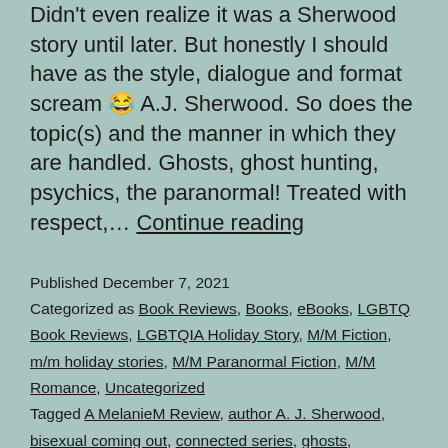Didn't even realize it was a Sherwood story until later. But honestly I should have as the style, dialogue and format scream 😂 A.J. Sherwood. So does the topic(s) and the manner in which they are handled. Ghosts, ghost hunting, psychics, the paranormal! Treated with respect,… Continue reading
Published December 7, 2021
Categorized as Book Reviews, Books, eBooks, LGBTQ Book Reviews, LGBTQIA Holiday Story, M/M Fiction, m/m holiday stories, M/M Paranormal Fiction, M/M Romance, Uncategorized
Tagged A MelanieM Review, author A. J. Sherwood, bisexual coming out, connected series, ghosts, LGBTQIA